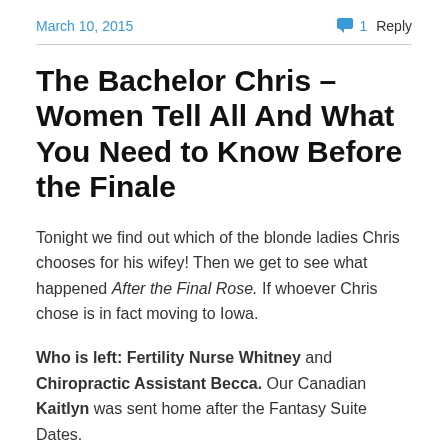March 10, 2015 | 1 Reply
The Bachelor Chris – Women Tell All And What You Need to Know Before the Finale
Tonight we find out which of the blonde ladies Chris chooses for his wifey! Then we get to see what happened After the Final Rose. If whoever Chris chose is in fact moving to Iowa.
Who is left: Fertility Nurse Whitney and Chiropractic Assistant Becca. Our Canadian Kaitlyn was sent home after the Fantasy Suite Dates.